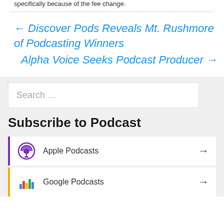specifically because of the fee change.
← Discover Pods Reveals Mt. Rushmore of Podcasting Winners
Alpha Voice Seeks Podcast Producer →
Search …
Subscribe to Podcast
Apple Podcasts →
Google Podcasts →